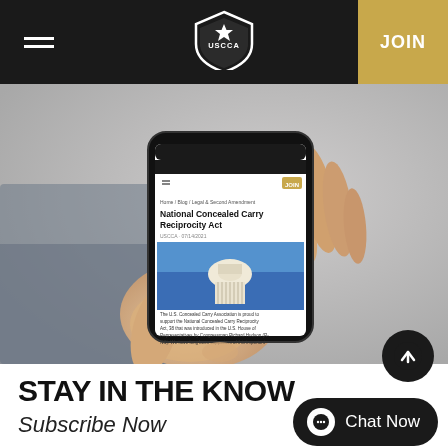USCCA — JOIN
[Figure (photo): A hand holding a smartphone displaying the USCCA website article 'National Concealed Carry Reciprocity Act', with an image of the US Capitol building visible on the phone screen.]
STAY IN THE KNOW
Subscribe Now